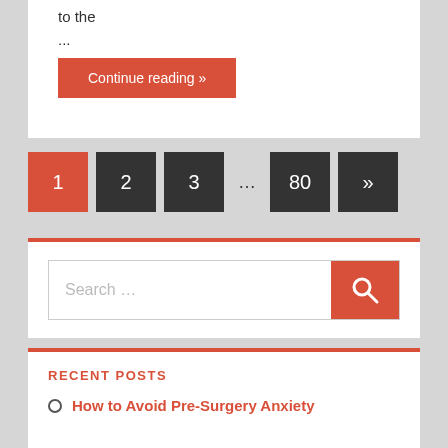to the
...
Continue reading »
1  2  3  ...  80  »
[Figure (screenshot): Search bar with orange search button and magnifying glass icon]
RECENT POSTS
How to Avoid Pre-Surgery Anxiety